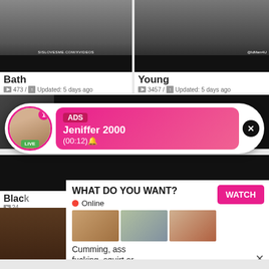[Figure (screenshot): Adult content website screenshot showing video thumbnails, category listings, and advertisement overlays including a live chat notification bubble and a 'What Do You Want?' ad panel with Watch button]
Bath
473 / Updated: 5 days ago
Young
3457 / Updated: 5 days ago
ADS
Jeniffer 2000
(00:12)
LIVE
WHAT DO YOU WANT?
WATCH
Online
Cumming, ass fucking, squirt or...
• ADS